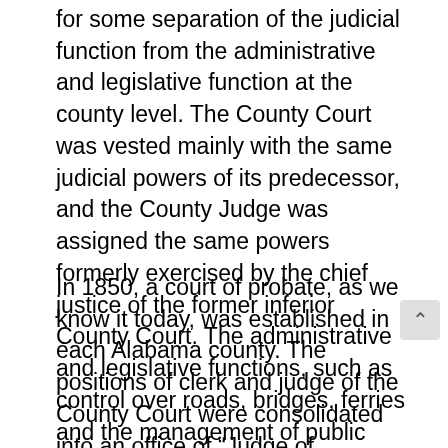for some separation of the judicial function from the administrative and legislative function at the county level. The County Court was vested mainly with the same judicial powers of its predecessor, and the County Judge was assigned the same powers formerly exercised by the chief justice of the former inferior County Court. The administrative and legislative functions, such as control over roads, bridges, ferries and the management of public buildings were assigned to the new Court of County Commissioners.
In 1850, a court of probate, as we know it today, was established in each Alabama county. The positions of clerk and judge of the County Court were consolidated into an office of "Judge of Probate." Unlike the County Judge who was appointed for a six year term, the Judge of Probate was to be popularly elected for a term of